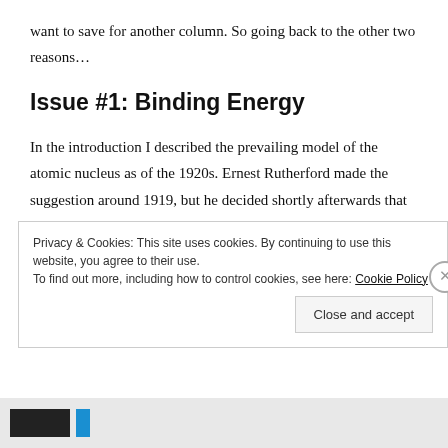want to save for another column. So going back to the other two reasons…
Issue #1: Binding Energy
In the introduction I described the prevailing model of the atomic nucleus as of the 1920s. Ernest Rutherford made the suggestion around 1919, but he decided shortly afterwards that it didn't make sense; and this is one reason why.
Privacy & Cookies: This site uses cookies. By continuing to use this website, you agree to their use.
To find out more, including how to control cookies, see here: Cookie Policy
Close and accept